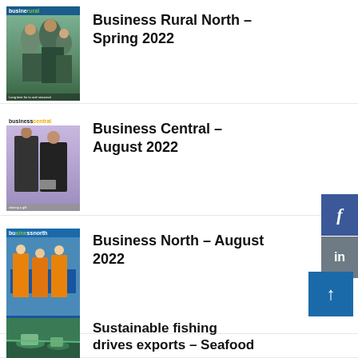[Figure (photo): Magazine cover thumbnail for Business Rural North Spring 2022, showing people outdoors on a farm/rural setting]
Business Rural North – Spring 2022
[Figure (photo): Magazine cover thumbnail for Business Central August 2022, showing two men in suits at an awards event]
Business Central – August 2022
[Figure (photo): Magazine cover thumbnail for Business North August 2022, showing workers in orange high-vis vests]
Business North – August 2022
[Figure (photo): Thumbnail image for Sustainable fishing drives exports – Seafood article, showing boats on water]
Sustainable fishing drives exports – Seafood